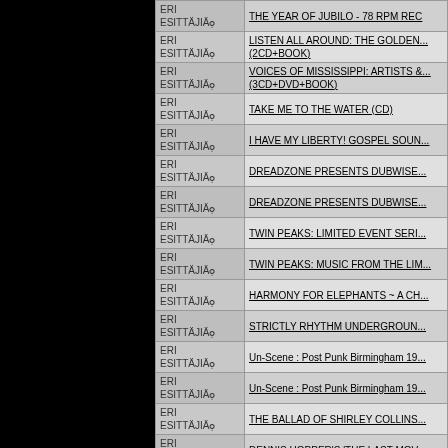| Presenter | Title |
| --- | --- |
| ERI ESITTÄJIÄ | THE YEAR OF JUBILO - 78 RPM REC... |
| ERI ESITTÄJIÄ | LISTEN ALL AROUND: THE GOLDEN... (2CD+BOOK) |
| ERI ESITTÄJIÄ | VOICES OF MISSISSIPPI: ARTISTS &... (3CD+DVD+BOOK) |
| ERI ESITTÄJIÄ | TAKE ME TO THE WATER (CD) |
| ERI ESITTÄJIÄ | I HAVE MY LIBERTY! GOSPEL SOUN... |
| ERI ESITTÄJIÄ | DREADZONE PRESENTS DUBWISE... |
| ERI ESITTÄJIÄ | DREADZONE PRESENTS DUBWISE... |
| ERI ESITTÄJIÄ | TWIN PEAKS: LIMITED EVENT SERI... |
| ERI ESITTÄJIÄ | TWIN PEAKS: MUSIC FROM THE LIM... |
| ERI ESITTÄJIÄ | HARMONY FOR ELEPHANTS ~ A CH... |
| ERI ESITTÄJIÄ | STRICTLY RHYTHM UNDERGROUN... |
| ERI ESITTÄJIÄ | Un-Scene : Post Punk Birmingham 19... |
| ERI ESITTÄJIÄ | Un-Scene : Post Punk Birmingham 19... |
| ERI ESITTÄJIÄ | THE BALLAD OF SHIRLEY COLLINS... |
| ERI ESITTÄJIÄ | DENNIS HOPPER'S 'THE LAST MOV... |
| ERI ESITTÄJIÄ | LET THE ELECTRIC CHILDREN PLA... TRANSATLANTIC RECORDS: 3 DISC... |
| ERI ESITTÄJIÄ | REVOLUTION ~ UNDERGROUND SO... |
| ERI ESITTÄJIÄ | LIVING ON THE HILL ~ A DANISH UN... |